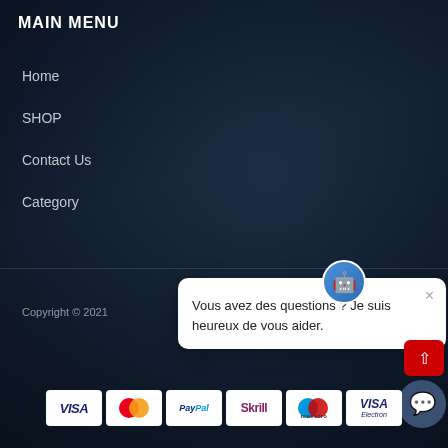MAIN MENU
Home
SHOP
Contact Us
Category
Copyright © 2021
[Figure (other): Chat popup overlay with bot icon, message: Vous avez des questions ? Je suis heureux de vous aider. Close button X visible. Red scroll-up button and dark blue chat button also visible.]
[Figure (other): Payment method logos row: VISA, Mastercard, PayPal, Skrill, Maestro, VISA Electron — all on white rounded cards at the bottom of the page.]